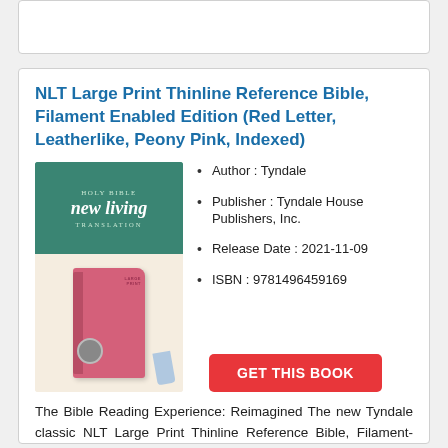NLT Large Print Thinline Reference Bible, Filament Enabled Edition (Red Letter, Leatherlike, Peony Pink, Indexed)
[Figure (photo): Book cover of NLT Large Print Thinline Reference Bible. Green top portion with 'HOLY BIBLE new living TRANSLATION' text; cream/beige bottom portion showing a pink leatherlike Bible with decorative cover.]
Author : Tyndale
Publisher : Tyndale House Publishers, Inc.
Release Date : 2021-11-09
ISBN : 9781496459169
GET THIS BOOK
The Bible Reading Experience: Reimagined The new Tyndale classic NLT Large Print Thinline Reference Bible, Filament-Enabled Edition has readable text, an attractive layout, and cross-references in a thin, easy-to-carry size. And while it has the same